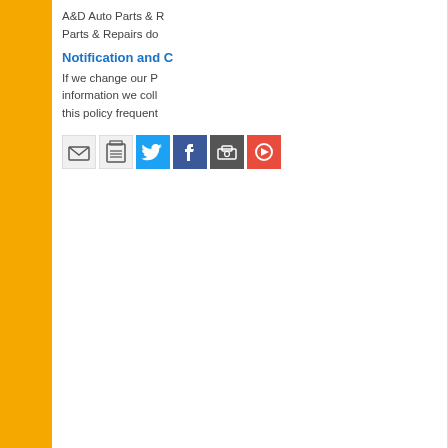A&D Auto Parts & Repairs do
Notification and C
If we change our P information we colle this policy frequent
[Figure (other): Social share icon buttons: email, print, Twitter, Facebook, dark icon, red icon]
(419) 476-4772
5846 N Detroit Ave - Toledo, OH 43612
Home | About | Used Auto Parts Toledo | Privacy | Contact
The contents of this webpage are Copyright 2017 A&D Auto Parts & Repairs. All Rights Reserv
A & D offers a large inventory of used automotive parts Toledo OH for cars and trucks. We sell quality used car parts separate from our self-service auto salvage yard. We provide parts for th Columbus OH area, and around the midwest.
People Usually Search Keywords: Chevy Silverado 1500 Used Parts | Used Transmissions Oh
Website Design - Manage